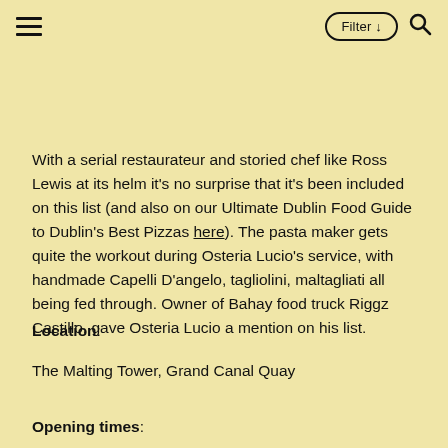≡  Filter ↓  🔍
With a serial restaurateur and storied chef like Ross Lewis at its helm it's no surprise that it's been included on this list (and also on our Ultimate Dublin Food Guide to Dublin's Best Pizzas here). The pasta maker gets quite the workout during Osteria Lucio's service, with handmade Capelli D'angelo, tagliolini, maltagliati all being fed through. Owner of Bahay food truck Riggz Castillo, gave Osteria Lucio a mention on his list.
Location:
The Malting Tower, Grand Canal Quay
Opening times: